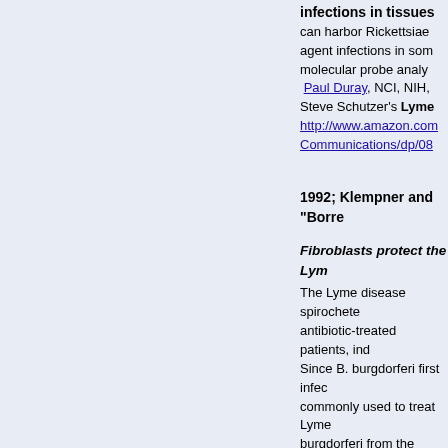infections in tissues can harbor Rickettsiae agent infections in some molecular probe analy Paul Duray, NCI, NIH, Steve Schutzer's Lyme http://www.amazon.com Communications/dp/08
1992; Klempner and "Borre
Fibroblasts protect the Lym
The Lyme disease spirochete antibiotic-treated patients, ind Since B. burgdorferi first infec commonly used to treat Lyme burgdorferi from the lethal act absence of fibroblasts, organi glutaraldehyde-fixed fibroblasts organism to survive in the pre burgdorferi for at least 14 day not Caco-2 cells showed the s disease spirochete with a pro http://www.actionlyme.org/Ma http://www.ncbi.nlm.nih.gov/p
1990; Steere using this sero M